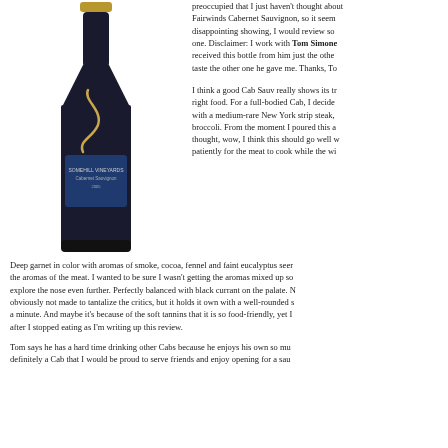[Figure (photo): A wine bottle with a dark label featuring a stylized 'S' design, labeled as Cabernet Sauvignon]
preoccupied that I just haven't thought about... Fairwinds Cabernet Sauvignon, so it seem... disappointing showing, I would review so... one. Disclaimer: I work with Tom Simone... received this bottle from him just the other... taste the other one he gave me. Thanks, To...
I think a good Cab Sauv really shows its tr... right food. For a full-bodied Cab, I decide... with a medium-rare New York strip steak,... broccoli. From the moment I poured this a... thought, wow, I think this should go well w... patiently for the meat to cook while the wi...
Deep garnet in color with aromas of smoke, cocoa, fennel and faint eucalyptus seem... the aromas of the meat. I wanted to be sure I wasn't getting the aromas mixed up so... explore the nose even further. Perfectly balanced with black currant on the palate. N... obviously not made to tantalize the critics, but it holds it own with a well-rounded s... a minute. And maybe it's because of the soft tannins that it is so food-friendly, yet I... after I stopped eating as I'm writing up this review.
Tom says he has a hard time drinking other Cabs because he enjoys his own so mu... definitely a Cab that I would be proud to serve friends and enjoy opening for a sau...